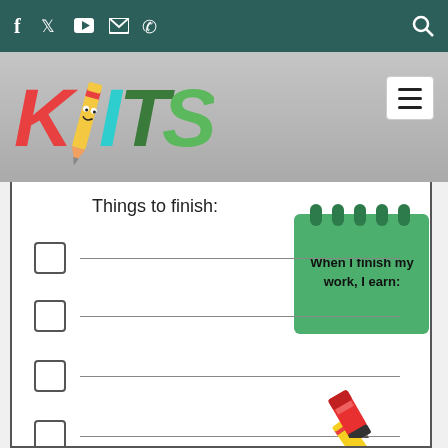KITS website header with social media icons (Facebook, Twitter, YouTube, Email, Phone) and search icon
[Figure (logo): KITS colorful children's educational logo with pencil character]
Things to finish:
[Figure (illustration): Green notepad with text: When I finish my work, I earn:]
Checkbox row 1 with blank line
Checkbox row 2 with blank line
Checkbox row 3 with blank line
Checkbox row 4 with blank line
Checkbox row 5 with blank line
Checkbox row 6 with blank line
Checkbox row 7 (partial) with blank line
[Figure (illustration): Yellow and red pencil illustration]
[Figure (illustration): Red marker/highlighter illustration]